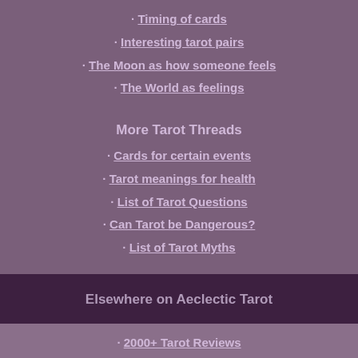· Timing of cards
· Interesting tarot pairs
· The Moon as how someone feels
· The World as feelings
More Tarot Threads
· Cards for certain events
· Tarot meanings for health
· List of Tarot Questions
· Can Tarot be Dangerous?
· List of Tarot Myths
Elsewhere on Aeclectic Tarot
· 2000+ Tarot Reviews